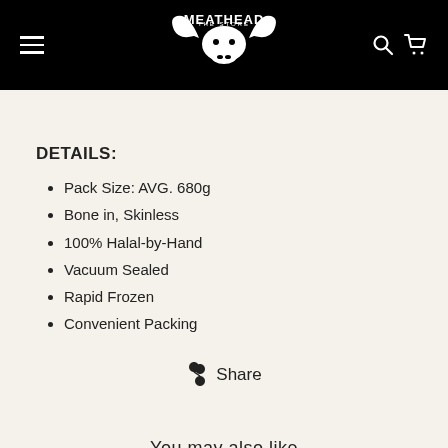THE MEATHEAD STORE
DETAILS:
Pack Size: AVG. 680g
Bone in, Skinless
100% Halal-by-Hand
Vacuum Sealed
Rapid Frozen
Convenient Packing
Share
You may also like